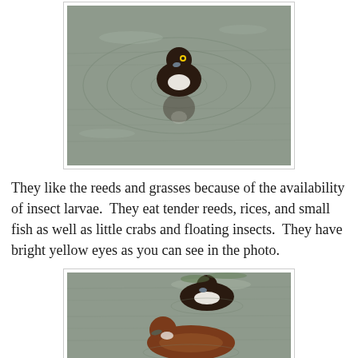[Figure (photo): A duck with dark plumage and bright yellow eye swimming on water, viewed from the front, with ripples around it and its reflection visible below.]
They like the reeds and grasses because of the availability of insect larvae.  They eat tender reeds, rices, and small fish as well as little crabs and floating insects.  They have bright yellow eyes as you can see in the photo.
[Figure (photo): Two ducks swimming on water — one dark-plumaged duck in the upper portion and one brown duck in the lower portion, both viewed from roughly behind/side angle.]